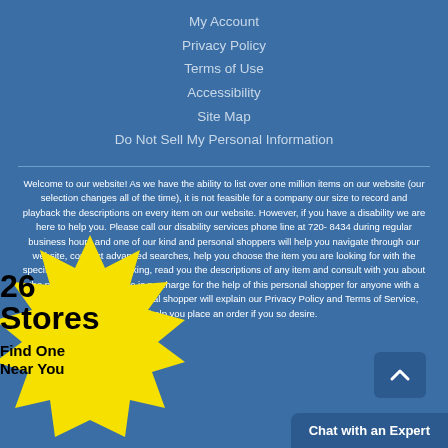My Account
Privacy Policy
Terms of Use
Accessibility
Site Map
Do Not Sell My Personal Information
Welcome to our website! As we have the ability to list over one million items on our website (our selection changes all of the time), it is not feasible for a company our size to record and playback the descriptions on every item on our website. However, if you have a disability we are here to help you. Please call our disability services phone line at 720-8434 during regular business hours and one of our kind and personal shoppers will help you navigate through our website, conduct advanced searches, help you choose the item you are looking for with the specifications you are seeking, read you the descriptions of any item and consult with you about the products there. There is no charge for the help of this personal shopper for anyone with a disability. Finally, your personal shopper will explain our Privacy Policy and Terms of Service, and help you place an order if you so desire.
[Figure (infographic): Yellow starburst badge with text '26 Stores - Find One Near You']
Chat with an Expert